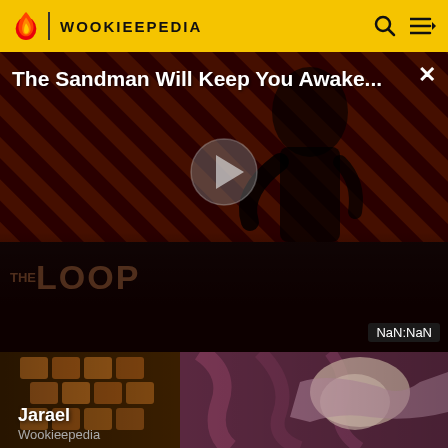WOOKIEEPEDIA
[Figure (screenshot): Video player showing 'The Sandman Will Keep You Awake...' with a dark figure in black against diagonal red/brown stripes background. Play button visible in center. THE LOOP logo visible at bottom left. NaN:NaN timer shown at bottom right. Close (X) button at top right.]
[Figure (illustration): Comic-style illustration of Jarael character, showing figure with orange/gold armored details on left and flowing pink/purple fabric on right, partially obscured sleeping figure.]
Jarael
Wookieepedia